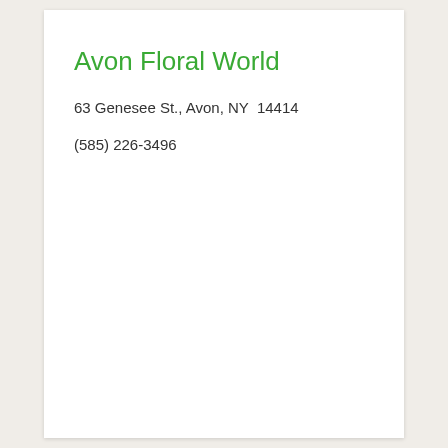Avon Floral World
63 Genesee St., Avon, NY  14414
(585) 226-3496